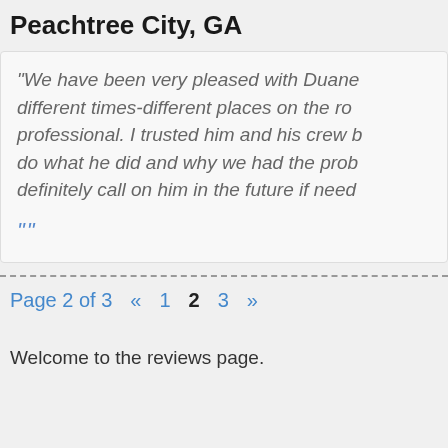Peachtree City, GA
“We have been very pleased with Duane different times-different places on the ro professional. I trusted him and his crew b do what he did and why we had the prob definitely call on him in the future if need
“”
Page 2 of 3  «  1  2  3  »
Welcome to the reviews page.